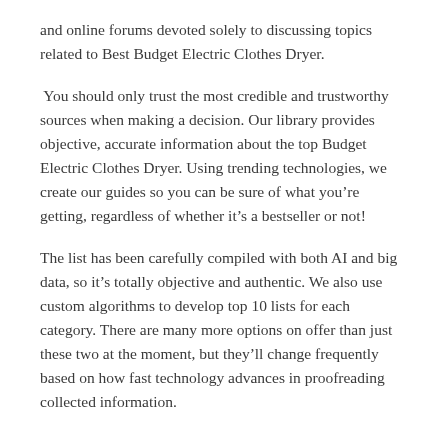and online forums devoted solely to discussing topics related to Best Budget Electric Clothes Dryer.
You should only trust the most credible and trustworthy sources when making a decision. Our library provides objective, accurate information about the top Budget Electric Clothes Dryer. Using trending technologies, we create our guides so you can be sure of what you're getting, regardless of whether it's a bestseller or not!
The list has been carefully compiled with both AI and big data, so it's totally objective and authentic. We also use custom algorithms to develop top 10 lists for each category. There are many more options on offer than just these two at the moment, but they'll change frequently based on how fast technology advances in proofreading collected information.